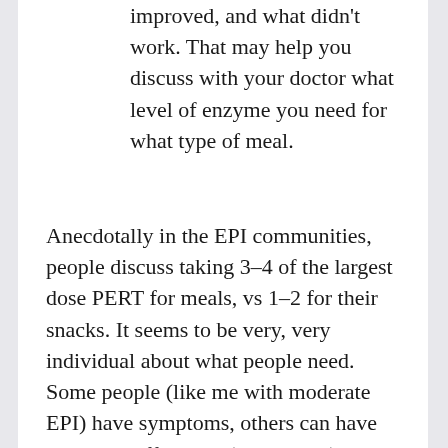improved, and what didn't work. That may help you discuss with your doctor what level of enzyme you need for what type of meal.
Anecdotally in the EPI communities, people discuss taking 3–4 of the largest dose PERT for meals, vs 1–2 for their snacks. It seems to be very, very individual about what people need. Some people (like me with moderate EPI) have symptoms, others can have severe insufficiency (severe EPI) but have fewer symptoms. As a